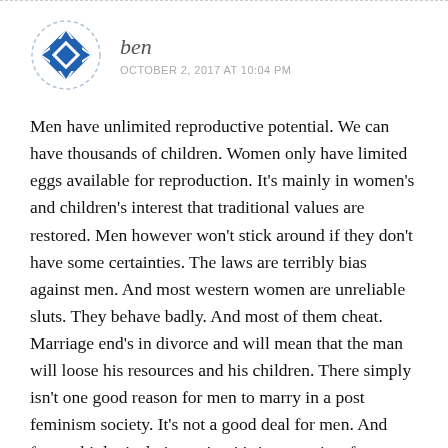[Figure (illustration): Circular avatar icon with dashed border; blue diamond/square geometric pattern on white background]
ben
OCTOBER 2, 2017 AT 10:04 PM
Men have unlimited reproductive potential. We can have thousands of children. Women only have limited eggs available for reproduction. It's mainly in women's and children's interest that traditional values are restored. Men however won't stick around if they don't have some certainties. The laws are terribly bias against men. And most western women are unreliable sluts. They behave badly. And most of them cheat. Marriage end's in divorce and will mean that the man will loose his resources and his children. There simply isn't one good reason for men to marry in a post feminism society. It's not a good deal for men. And from a biological viewpoint, it's just a waist of resources. At this point I conclude, and...